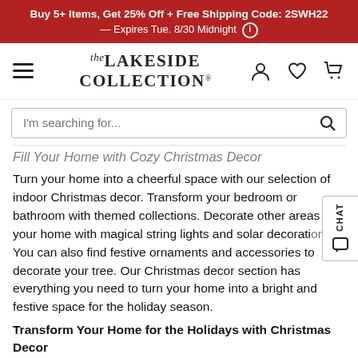Buy 5+ Items, Get 25% Off + Free Shipping Code: 2SWH22 — Expires Tue. 8/30 Midnight
[Figure (logo): The Lakeside Collection logo with hamburger menu and nav icons (user, heart, cart)]
I'm searching for...
Fill Your Home with Cozy Christmas Decor
Turn your home into a cheerful space with our selection of indoor Christmas decor. Transform your bedroom or bathroom with themed collections. Decorate other areas of your home with magical string lights and solar decorations. You can also find festive ornaments and accessories to decorate your tree. Our Christmas decor section has everything you need to turn your home into a bright and festive space for the holiday season.
Transform Your Home for the Holidays with Christmas Decor
Decorate your home with holiday charm and cheer with our selection of Christmas decor. Find ornaments and the